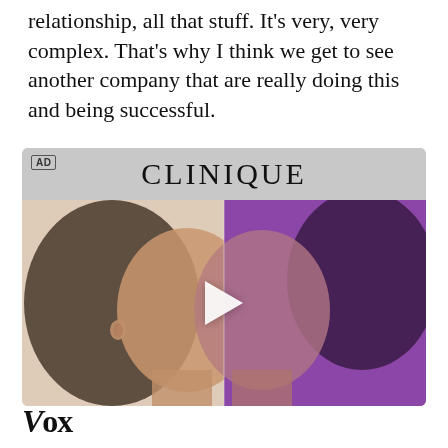relationship, all that stuff. It's very, very complex. That's why I think we get to see another company that are really doing this and being successful.
[Figure (other): Clinique advertisement with split-face image of a woman (left half natural lighting, right half purple tinted lighting) with a play button overlay. 'AD' label in top-left corner. 'CLINIQUE' brand name in header.]
Vox